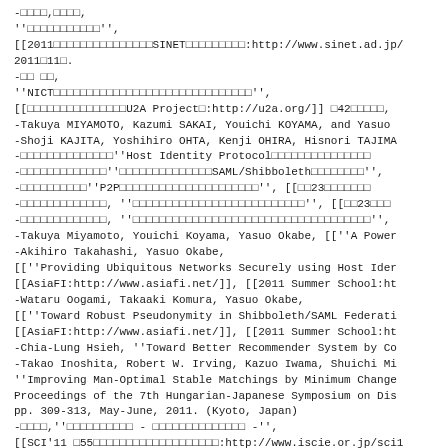-□□□□,□□□□,
''□□□□□□□□□□□'',
[[2011□□□□□□□□□□□□□□□SINET□□□□□□□□□:http://www.sinet.ad.jp/
2011□11□.
-□□ □□,
''NICT□□□□□□□□□□□□□□□□□□□□□□□□□□□□□□'',
[[□□□□□□□□□□□□□□□U2A Project□:http://u2a.org/]] □42□□□□□,
-Takuya MIYAMOTO, Kazumi SAKAI, Youichi KOYAMA, and Yasuo
-Shoji KAJITA, Yoshihiro OHTA, Kenji OHIRA, Hisnori TAJIMA
-□□□□□□□□□□□□□□''Host Identity Protocol□□□□□□□□□□□□□□□
-□□□□□□□□□□□□□''□□□□□□□□□□□□□□SAML/Shibboleth□□□□□□□□'',
-□□□□□□□□□□''P2P□□□□□□□□□□□□□□□□□□□□□'', [[□□23□□□□□□□
-□□□□□□□□□□□□□, ''□□□□□□□□□□□□□□□□□□□□□□□□□□'', [[□□23□□□
-□□□□□□□□□□□□□, ''□□□□□□□□□□□□□□□□□□□□□□□□□□□□□□□□□□□□'',
-Takuya Miyamoto, Youichi Koyama, Yasuo Okabe, [[''A Power
-Akihiro Takahashi, Yasuo Okabe,
[[''Providing Ubiquitous Networks Securely using Host Ider
[[AsiaFI:http://www.asiafi.net/]], [[2011 Summer School:ht
-Wataru Oogami, Takaaki Komura, Yasuo Okabe,
[[''Toward Robust Pseudonymity in Shibboleth/SAML Federati
[[AsiaFI:http://www.asiafi.net/]], [[2011 Summer School:ht
-Chia-Lung Hsieh, ''Toward Better Recommender System by Co
-Takao Inoshita, Robert W. Irving, Kazuo Iwama, Shuichi Mi
''Improving Man-Optimal Stable Matchings by Minimum Change
Proceedings of the 7th Hungarian-Japanese Symposium on Dis
pp. 309-313, May-June, 2011. (Kyoto, Japan)
-□□□□,''□□□□□□□□□□ - □□□□□□□□□□□□□□ -'',
[[SCI'11 □55□□□□□□□□□□□□□□□□□□□:http://www.iscie.or.jp/sci1
**□□□□□□□□□□ [#ped7e101]